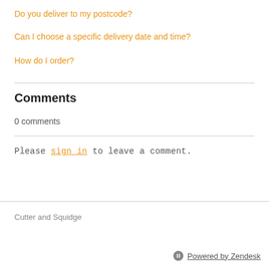Do you deliver to my postcode?
Can I choose a specific delivery date and time?
How do I order?
Comments
0 comments
Please sign in to leave a comment.
Cutter and Squidge
Powered by Zendesk